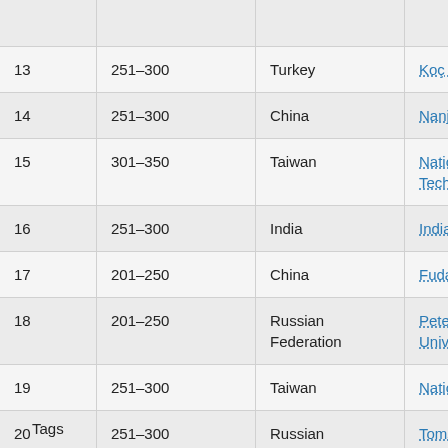| # | Rank | Country | University |
| --- | --- | --- | --- |
| 13 | 251–300 | Turkey | Koç Unive... |
| 14 | 251–300 | China | Nanjing U... |
| 15 | 301–350 | Taiwan | National T... Technolo... |
| 16 | 251–300 | India | Indian Ins... |
| 17 | 201–250 | China | Fudan Un... |
| 18 | 201–250 | Russian Federation | Peter the... University... |
| 19 | 251–300 | Taiwan | National T... |
| 20 | 251–300 | Russian Federation | Tomsk Po... |
Tags